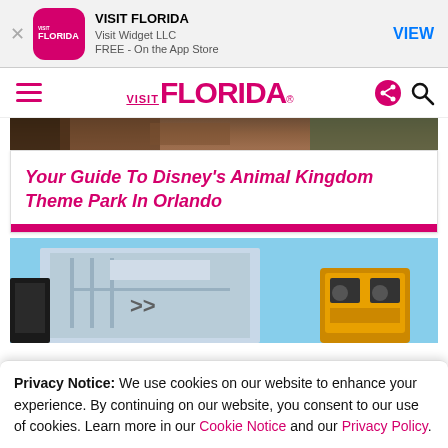VISIT FLORIDA | Visit Widget LLC | FREE - On the App Store | VIEW
[Figure (logo): Visit Florida app icon and navigation bar with hamburger menu, VISIT FLORIDA logo, share and search icons]
[Figure (photo): Partial top image of animal/nature scene]
Your Guide To Disney’s Animal Kingdom Theme Park In Orlando
[Figure (photo): Photo of Transformers ride building with blue sky and yellow robot character visible]
Privacy Notice: We use cookies on our website to enhance your experience. By continuing on our website, you consent to our use of cookies. Learn more in our Cookie Notice and our Privacy Policy.